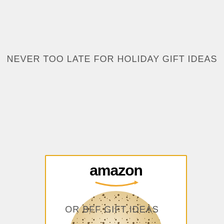NEVER TOO LATE FOR HOLIDAY GIFT IDEAS
[Figure (screenshot): Amazon product advertisement card showing the Amazon logo, a round flatbread/tortilla product image, product title 'CASOFU Burritos...', price '$19.99', Prime badge, and a 'Shop now' button bar with Amazon icon.]
OR BFF GIFT IDEAS